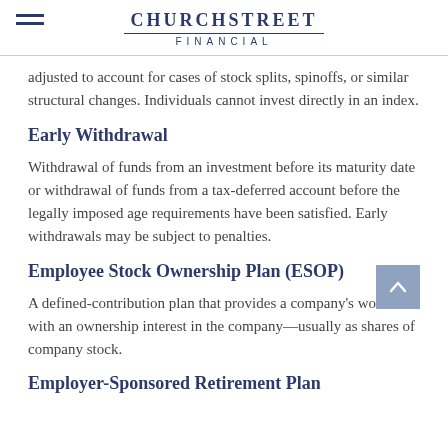ChurchStreet Financial
adjusted to account for cases of stock splits, spinoffs, or similar structural changes. Individuals cannot invest directly in an index.
Early Withdrawal
Withdrawal of funds from an investment before its maturity date or withdrawal of funds from a tax-deferred account before the legally imposed age requirements have been satisfied. Early withdrawals may be subject to penalties.
Employee Stock Ownership Plan (ESOP)
A defined-contribution plan that provides a company's workers with an ownership interest in the company—usually as shares of company stock.
Employer-Sponsored Retirement Plan